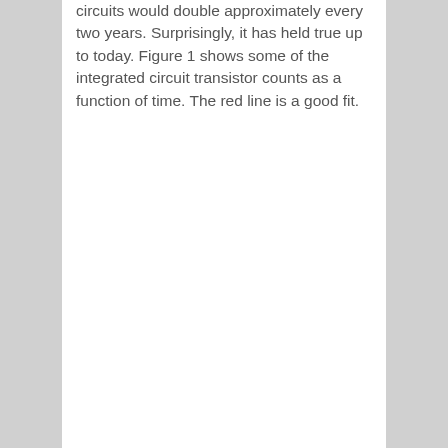circuits would double approximately every two years. Surprisingly, it has held true up to today. Figure 1 shows some of the integrated circuit transistor counts as a function of time. The red line is a good fit.